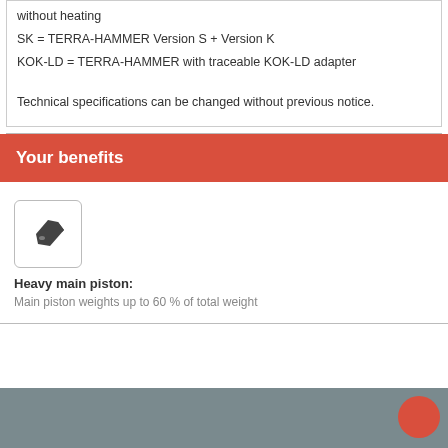without heating
SK = TERRA-HAMMER Version S + Version K
KOK-LD = TERRA-HAMMER with traceable KOK-LD adapter
Technical specifications can be changed without previous notice.
Your benefits
[Figure (illustration): Icon showing a heavy piston or blade component, black silhouette on white background, inside a rounded rectangle border]
Heavy main piston:
Main piston weights up to 60 % of total weight